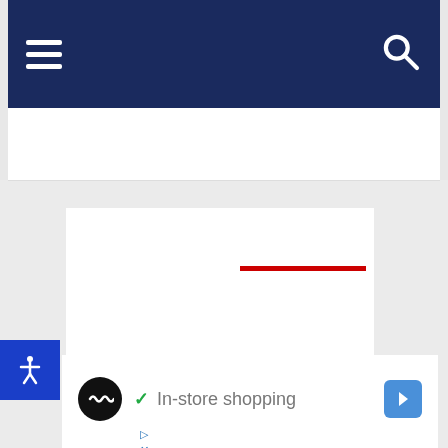[Figure (screenshot): Dark navy navigation bar with hamburger menu icon on left and search (magnifying glass) icon on right, white background bar below with red underline element, gray background with white content card area, blue accessibility button on left side, and advertisement panel at bottom showing a logo, checkmark with 'In-store shopping' text, and navigation arrow icon]
In-store shopping